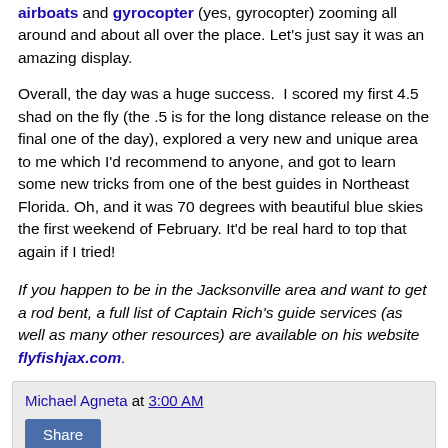airboats and gyrocopter (yes, gyrocopter) zooming all around and about all over the place. Let's just say it was an amazing display.
Overall, the day was a huge success.  I scored my first 4.5 shad on the fly (the .5 is for the long distance release on the final one of the day), explored a very new and unique area to me which I'd recommend to anyone, and got to learn some new tricks from one of the best guides in Northeast Florida. Oh, and it was 70 degrees with beautiful blue skies the first weekend of February. It'd be real hard to top that again if I tried!
If you happen to be in the Jacksonville area and want to get a rod bent, a full list of Captain Rich's guide services (as well as many other resources) are available on his website flyfishjax.com.
Michael Agneta at 3:00 AM
Share
12 comments: